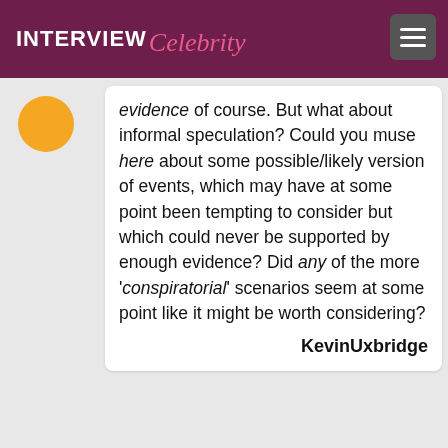INTERVIEW Celebrity
evidence of course. But what about informal speculation? Could you muse here about some possible/likely version of events, which may have at some point been tempting to consider but which could never be supported by enough evidence? Did any of the more 'conspiratorial' scenarios seem at some point like it might be worth considering?
KevinUxbridge
It was shockingly easy to tumble down a few rabbit holes along the way. Boeing's uninterruptible auto-pilot kept me awake a night or two, as did the mangosteens-that-maybe-weren't-mangosteens in the cargo hold. There's no evidence that either of those played a role -- but there's not really evidence to support any